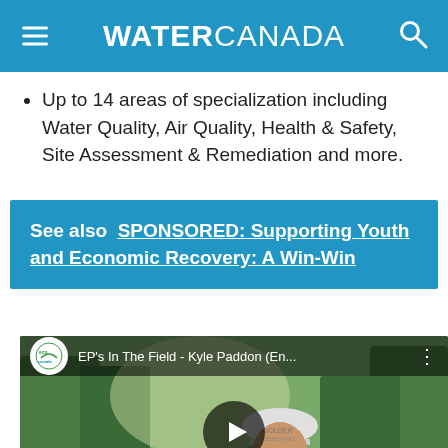WATER CANADA
Up to 14 areas of specialization including Water Quality, Air Quality, Health & Safety, Site Assessment & Remediation and more.
See also  SPONSORED: Supporting Youth and Economic Recovery: A Win-Win
[Figure (screenshot): YouTube video thumbnail showing a man in a hard hat and safety vest outdoors, titled EP's In The Field - Kyle Paddon (En... with an eco canada logo and play button overlay]